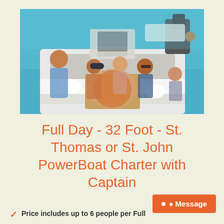[Figure (photo): Group of people on a powerboat on turquoise water. Several adults and a teenager sitting around a table on the boat deck with pizza boxes and plates.]
Full Day - 32 Foot - St. Thomas or St. John PowerBoat Charter with Captain
Price includes up to 6 people per Full